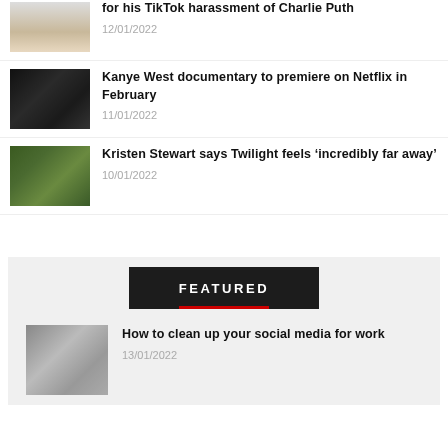[Figure (photo): Blonde woman photo (partially visible at top)]
for his TikTok harassment of Charlie Puth
12/01/2022
[Figure (photo): Kanye West dark portrait photo]
Kanye West documentary to premiere on Netflix in February
11/01/2022
[Figure (photo): Kristen Stewart photo from Twilight in forest setting]
Kristen Stewart says Twilight feels ‘incredibly far away’
10/01/2022
FEATURED
[Figure (photo): Person holding phone, social media image]
How to clean up your social media for work
13/01/2022